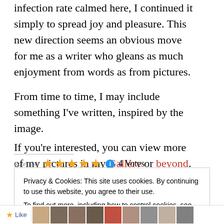infection rate calmed here, I continued it simply to spread joy and pleasure. This new direction seems an obvious move for me as a writer who gleans as much enjoyment from words as from pictures.
From time to time, I may include something I’ve written, inspired by the image.
If you’re interested, you can view more of my pictures in my Gallery or beyond.
Rate This ★★★★★ ⓘ 4 Votes
Privacy & Cookies: This site uses cookies. By continuing to use this website, you agree to their use. To find out more, including how to control cookies, see here: Cookie Policy
Close and accept
Like